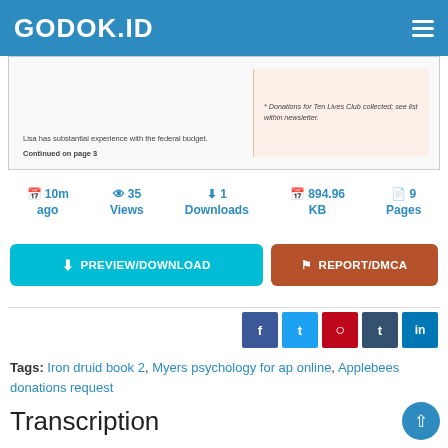GODOK.ID
[Figure (screenshot): Document thumbnail preview showing newsletter content with text 'Lisa has substantial experience with the federal budget. Continued on page 3' and a peach-colored box with '* Donations for Ten Lives Club collected; see list within newsletter.']
10m ago   35 Views   1 Downloads   894.96 KB   9 Pages
PREVIEW/DOWNLOAD   REPORT/DMCA
[Figure (infographic): Social media share buttons: Facebook, Twitter, Pinterest, Tumblr, LinkedIn]
Tags: Iron druid book 2, Myers psychology for ap online, Applebees donations request
Transcription